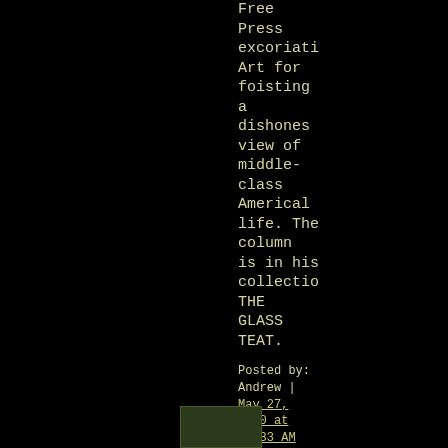Free Press excoriation Art for foisting a dishonest view of middle-class American life. The column is in his collection THE GLASS TEAT.
Posted by: Andrew | May 27, 2010 at 07:33 AM
[Figure (photo): Small thumbnail image at bottom of page]